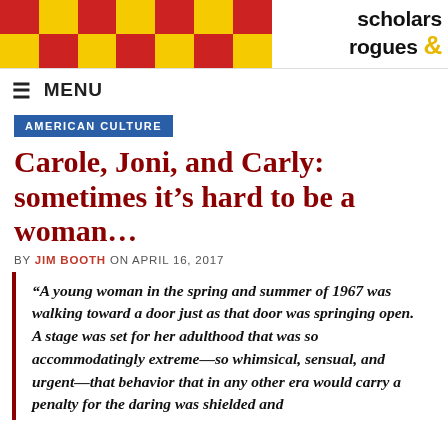scholars & rogues
MENU
AMERICAN CULTURE
Carole, Joni, and Carly: sometimes it’s hard to be a woman…
BY JIM BOOTH ON APRIL 16, 2017
“A young woman in the spring and summer of 1967 was walking toward a door just as that door was springing open. A stage was set for her adulthood that was so accommodatingly extreme—so whimsical, sensual, and urgent—that behavior that in any other era would carry a penalty for the daring was shielded and